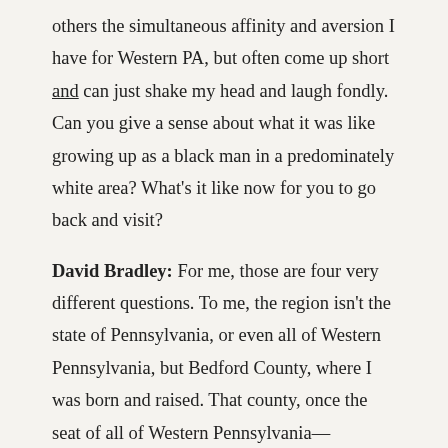others the simultaneous affinity and aversion I have for Western PA, but often come up short and can just shake my head and laugh fondly. Can you give a sense about what it was like growing up as a black man in a predominately white area? What's it like now for you to go back and visit?
David Bradley: For me, those are four very different questions. To me, the region isn't the state of Pennsylvania, or even all of Western Pennsylvania, but Bedford County, where I was born and raised. That county, once the seat of all of Western Pennsylvania—including what is now Pittsburgh—has a long, complicated and storied history, which I will happily get into in person, over